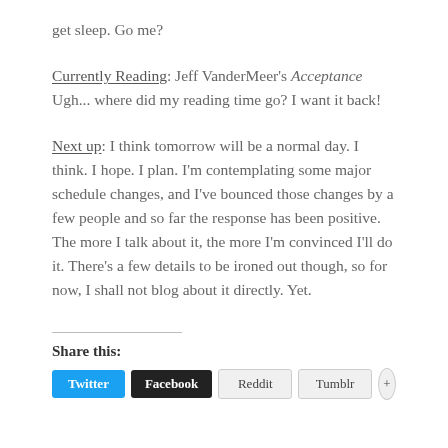get sleep. Go me?
Currently Reading: Jeff VanderMeer's Acceptance Ugh... where did my reading time go? I want it back!
Next up: I think tomorrow will be a normal day. I think. I hope. I plan. I'm contemplating some major schedule changes, and I've bounced those changes by a few people and so far the response has been positive. The more I talk about it, the more I'm convinced I'll do it. There's a few details to be ironed out though, so for now, I shall not blog about it directly. Yet.
Share this: